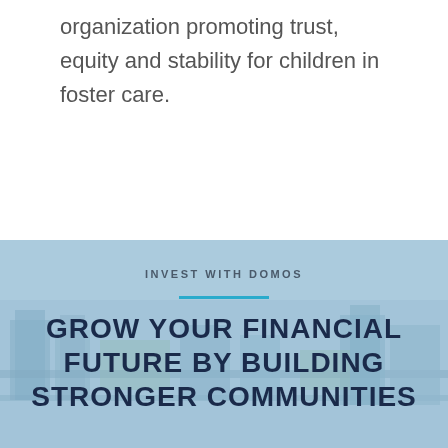organization promoting trust, equity and stability for children in foster care.
[Figure (photo): Aerial photograph of a community/neighborhood with buildings and green spaces, overlaid with a light blue tint, used as background for the 'Invest with Domos' section.]
INVEST WITH DOMOS
GROW YOUR FINANCIAL FUTURE BY BUILDING STRONGER COMMUNITIES